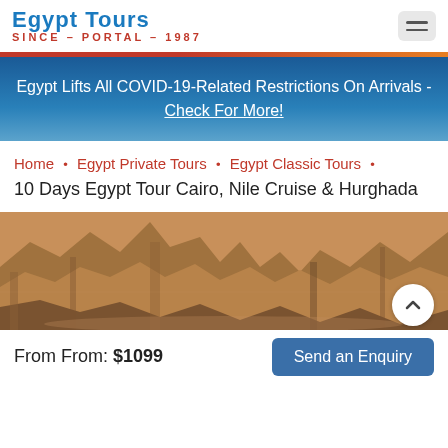Egypt Tours Portal SINCE - PORTAL - 1987
Egypt Lifts All COVID-19-Related Restrictions On Arrivals - Check For More!
Home • Egypt Private Tours • Egypt Classic Tours •
10 Days Egypt Tour Cairo, Nile Cruise & Hurghada
[Figure (photo): Rocky desert landscape, sandy warm-toned stone formations]
From From: $1099
Send an Enquiry